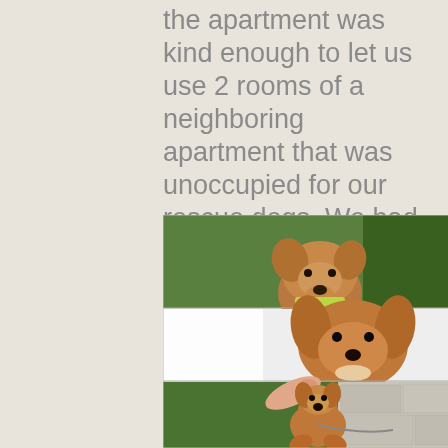the apartment was kind enough to let us use 2 rooms of a neighboring apartment that was unoccupied for our rescue dogs. We had a very 'ruff' go of it but we pulled thru!
[Figure (photo): A collage of three photos of dogs: top photo shows a brown dog with a yellow/green vest outdoors with green background; middle photo shows a brown puppy with floppy ears against a white/light background with a blurred white area on the left; bottom photo shows a small brown and white puppy being held up by a person's hand outdoors near a wall.]